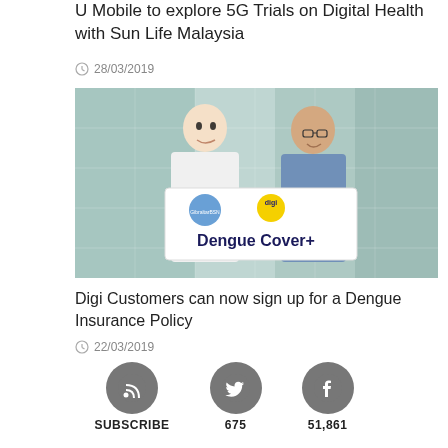U Mobile to explore 5G Trials on Digital Health with Sun Life Malaysia
28/03/2019
[Figure (photo): Two men holding a white sign reading 'Dengue Cover+' with GibraltarBSN and Digi logos, standing in front of a glass building]
Digi Customers can now sign up for a Dengue Insurance Policy
22/03/2019
SUBSCRIBE   675   51,861